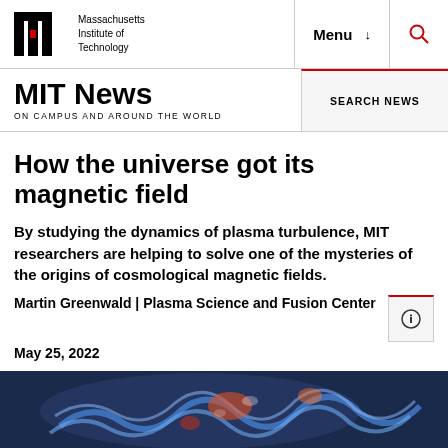MIT Massachusetts Institute of Technology | Menu | Search
MIT News ON CAMPUS AND AROUND THE WORLD
How the universe got its magnetic field
By studying the dynamics of plasma turbulence, MIT researchers are helping to solve one of the mysteries of the origins of cosmological magnetic fields.
Martin Greenwald | Plasma Science and Fusion Center
May 25, 2022
[Figure (photo): Colorful simulation image of plasma turbulence showing blue, orange and white wave patterns on dark blue background]